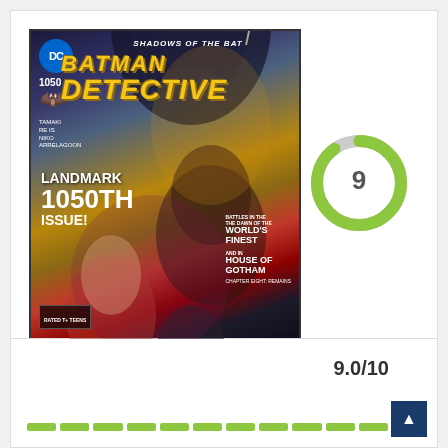[Figure (illustration): Batman Detective Comics #1050 comic book cover - Landmark 1050th Issue. Shows Batman looming in the background with multiple characters including female heroes/villains in the foreground. Title reads 'Batman Detective' in yellow, with 'Shadows of the Bat' subtitle. Bottom text mentions 'The Dawn of the World's Finest' and 'House of Gotham'.]
[Figure (donut-chart): Donut/ring chart showing a score of 9 out of 10. Green ring approximately 90% filled, light gray for remaining 10%.]
9.0/10